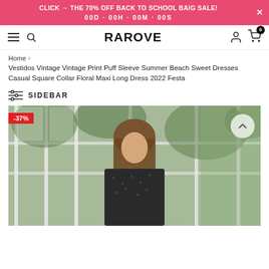CLICK → THE 70% OFF BACK TO SCHOOL BAIG SALE! 00D · 00H · 00M · 00S
RAROVE
Home > Vestidos Vintage Vintage Print Puff Sleeve Summer Beach Sweet Dresses Casual Square Collar Floral Maxi Long Dress 2022 Festa
SIDEBAR
[Figure (photo): Woman wearing a dark floral/print dress standing near white-framed windows with green foliage visible outside. Discount badge showing -37%.]